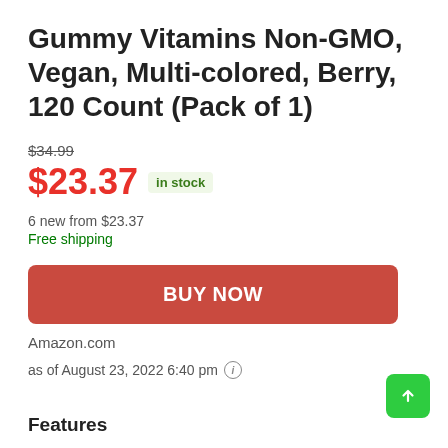Gummy Vitamins Non-GMO, Vegan, Multi-colored, Berry, 120 Count (Pack of 1)
$34.99
$23.37 in stock
6 new from $23.37
Free shipping
BUY NOW
Amazon.com
as of August 23, 2022 6:40 pm
Features